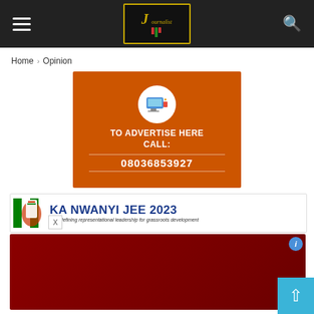Navigation bar with hamburger menu, Journalist logo, and search icon
Home › Opinion
[Figure (infographic): Orange advertisement banner reading: TO ADVERTISE HERE CALL: 08036853927 with a computer/digital icon at the top]
[Figure (infographic): KA NWANYI JEE 2023 banner with Nigerian flag graphic and subtitle: ...Redefining representational leadership for grassroots development, with a close button X]
[Figure (photo): Dark red/maroon section at the bottom of the page, partially visible]
Back to top button (arrow up) in cyan/blue